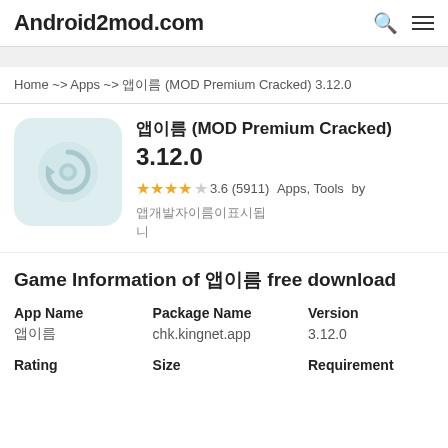Android2mod.com
Home ~> Apps ~> 앱이름 (MOD Premium Cracked) 3.12.0
[Figure (logo): App icon with circular arrow/refresh symbol on light blue background]
앱이름 (MOD Premium Cracked) 3.12.0
3.6 (5911) Apps, Tools by 개발사이름
Game Information of 앱이름 free download
| App Name | Package Name | Version |
| --- | --- | --- |
| 앱이름 | chk.kingnet.app | 3.12.0 |
| Rating | Size | Requirement |
| --- | --- | --- |